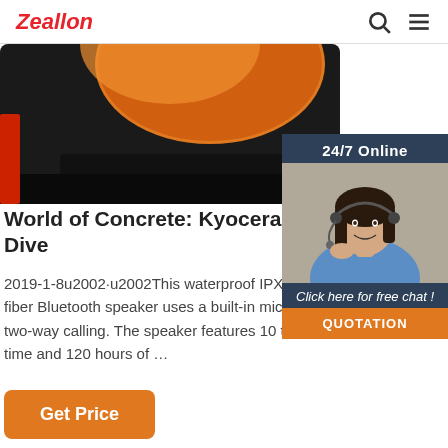Zeallon
[Figure (photo): Partial view of an orange and black wireless Bluetooth speaker from above]
[Figure (photo): Chat widget with 24/7 Online label, photo of smiling woman with headset, Click here for free chat text, and QUOTATION button]
World of Concrete: Kyocera Introduces … - C Dive
2019-1-8u2002·u2002This waterproof IPX7, lightw fiber Bluetooth speaker uses a built-in microphor two-way calling. The speaker features 10 to 12 ho time and 120 hours of …
Get Price